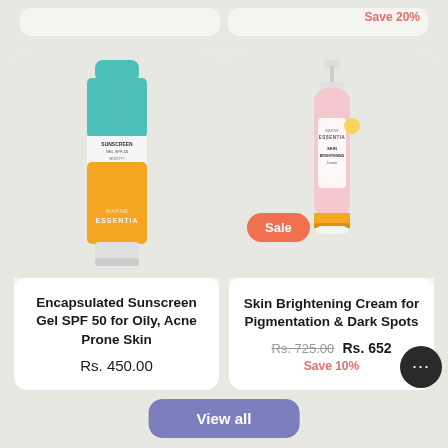Save 20%
[Figure (photo): Marne Essentia Sunscreen Gel SPF 50 tube, teal and yellow/orange packaging]
Encapsulated Sunscreen Gel SPF 50 for Oily, Acne Prone Skin
Rs. 450.00
Sale
[Figure (photo): Marne Essentia Skin Brightening Cream pump bottle in pink packaging with gold cap]
Skin Brightening Cream for Pigmentation & Dark Spots
Rs. 725.00  Rs. 652
Save 10%
View all